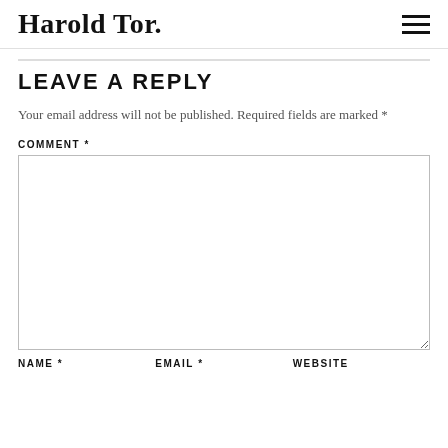Harold Tor.
LEAVE A REPLY
Your email address will not be published. Required fields are marked *
COMMENT *
NAME *
EMAIL *
WEBSITE